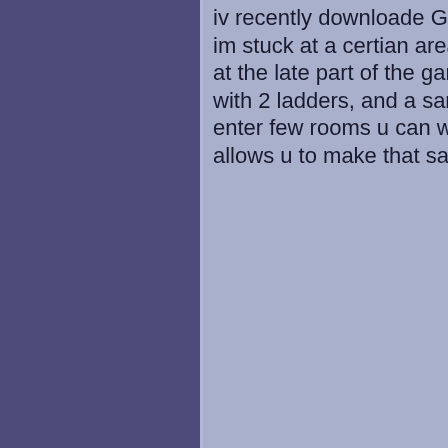iv recently downloaded GS into my phone, and im stuck at a certian area. on Babi's lighthouse, at the late part of the game u enter a big room with 2 ladders, and a sand waterfall. after u enter few rooms u can walk on a step that allows u to make that sand